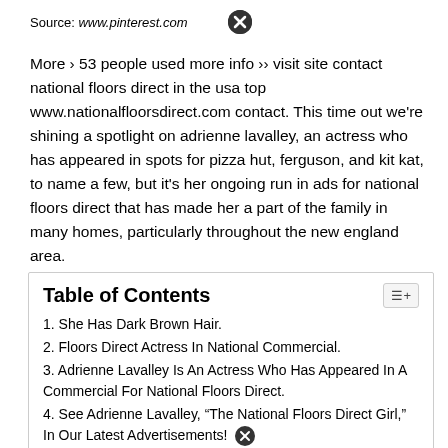Source: www.pinterest.com
More › 53 people used more info ›› visit site contact national floors direct in the usa top www.nationalfloorsdirect.com contact. This time out we're shining a spotlight on adrienne lavalley, an actress who has appeared in spots for pizza hut, ferguson, and kit kat, to name a few, but it's her ongoing run in ads for national floors direct that has made her a part of the family in many homes, particularly throughout the new england area.
Table of Contents
1. She Has Dark Brown Hair.
2. Floors Direct Actress In National Commercial.
3. Adrienne Lavalley Is An Actress Who Has Appeared In A Commercial For National Floors Direct.
4. See Adrienne Lavalley, “The National Floors Direct Girl,” In Our Latest Advertisements!